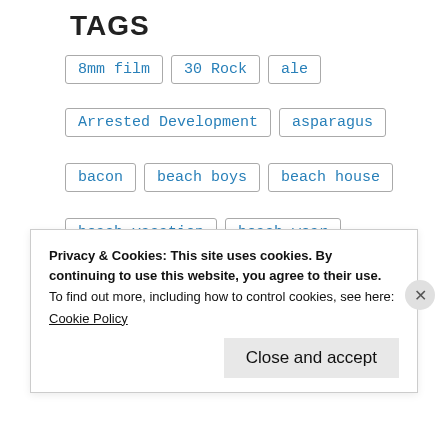TAGS
8mm film
30 Rock
ale
Arrested Development
asparagus
bacon
beach boys
beach house
beach vacation
beach wear
beer
beertainer
Belgian beer
biscuits and gravy
bitter
black and tan
Privacy & Cookies: This site uses cookies. By continuing to use this website, you agree to their use.
To find out more, including how to control cookies, see here:
Cookie Policy
Close and accept